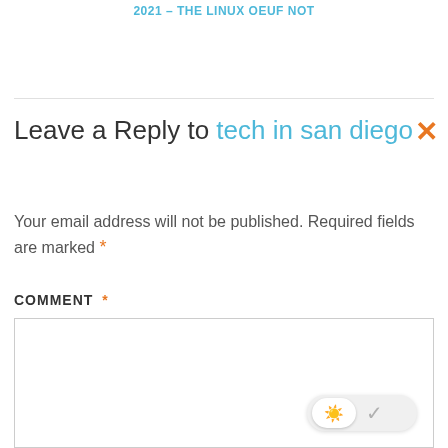2021 – THE LINUX OEUF NOT
Leave a Reply to tech in san diego
Your email address will not be published. Required fields are marked *
COMMENT *
[Figure (screenshot): Comment text area input box with a light/dark mode toggle widget in the bottom right corner]